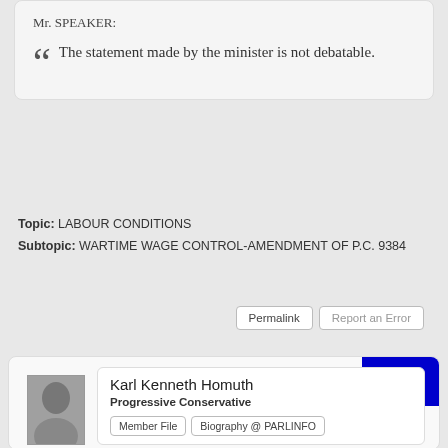Mr. SPEAKER:
The statement made by the minister is not debatable.
Topic: LABOUR CONDITIONS
Subtopic: WARTIME WAGE CONTROL-AMENDMENT OF P.C. 9384
Permalink | Report an Error
PC
Karl Kenneth Homuth
Progressive Conservative
Member File | Biography @ PARLINFO